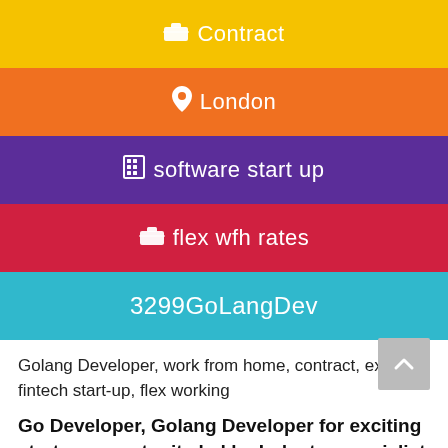[Figure (infographic): Yellow banner strip with briefcase icon and text 'Contract']
[Figure (infographic): Orange banner strip with location pin icon and text 'London']
[Figure (infographic): Purple banner strip with building icon and text 'software start up']
[Figure (infographic): Red banner strip with briefcase icon and text 'flex wfh rates']
[Figure (infographic): Teal/cyan banner strip with text '3299GoLangDev']
Golang Developer, work from home, contract, exciting fintech start-up, flex working
Go Developer, Golang Developer for exciting startup opportunity led by Industry specialist
Great opportunity for ground level entry in developing